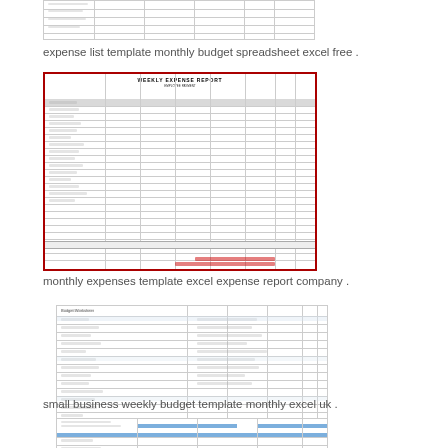[Figure (screenshot): Partially visible spreadsheet thumbnail at top of page showing expense list template monthly budget spreadsheet]
expense list template monthly budget spreadsheet excel free .
[Figure (screenshot): Weekly expense report template thumbnail with red border, showing columns for expense categories and days of the week]
monthly expenses template excel expense report company .
[Figure (screenshot): Small business weekly budget template spreadsheet thumbnail showing budget categories and amounts]
small business weekly budget template monthly excel uk .
[Figure (screenshot): Partially visible budget spreadsheet thumbnail at bottom of page with blue header highlighted rows]